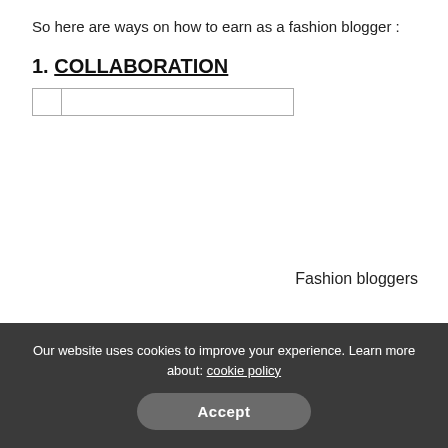So here are ways on how to earn as a fashion blogger :
1. COLLABORATION
[Figure (other): A small image placeholder with a bordered box on the left side]
Fashion bloggers
collaborate with different brands that match their taste
Our website uses cookies to improve your experience. Learn more about: cookie policy
Accept